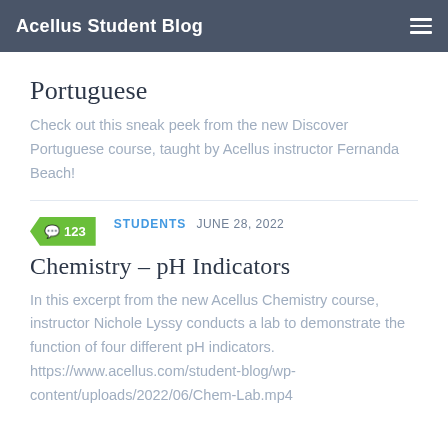Acellus Student Blog
Portuguese
Check out this sneak peek from the new Discover Portuguese course, taught by Acellus instructor Fernanda Beach!
STUDENTS  JUNE 28, 2022
Chemistry – pH Indicators
In this excerpt from the new Acellus Chemistry course, instructor Nichole Lyssy conducts a lab to demonstrate the function of four different pH indicators. https://www.acellus.com/student-blog/wp-content/uploads/2022/06/Chem-Lab.mp4